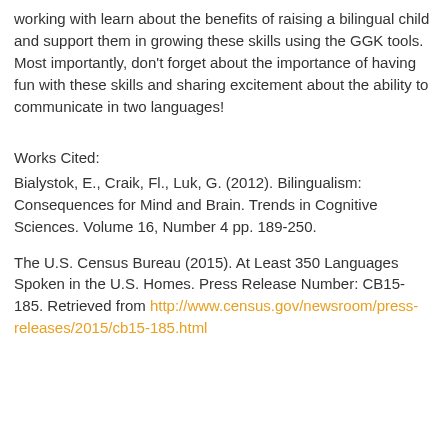working with learn about the benefits of raising a bilingual child and support them in growing these skills using the GGK tools. Most importantly, don't forget about the importance of having fun with these skills and sharing excitement about the ability to communicate in two languages!
Works Cited:
Bialystok, E., Craik, Fl., Luk, G. (2012). Bilingualism: Consequences for Mind and Brain. Trends in Cognitive Sciences. Volume 16, Number 4 pp. 189-250.
The U.S. Census Bureau (2015). At Least 350 Languages Spoken in the U.S. Homes. Press Release Number: CB15-185. Retrieved from http://www.census.gov/newsroom/press-releases/2015/cb15-185.html